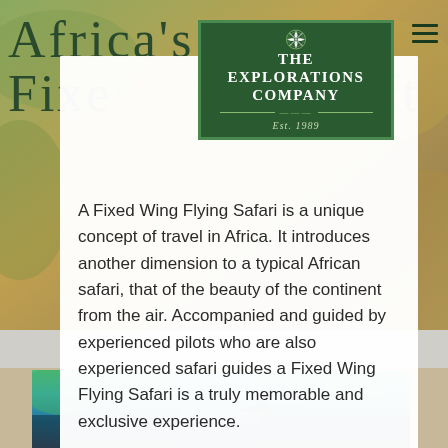[Figure (photo): African landscape background with warm golden tones, safari setting]
Africa's Private Fixed Wing Craft
[Figure (logo): The Explorations Company logo - dark green rectangle with snowflake emblem, Est. 1989]
A Fixed Wing Flying Safari is a unique concept of travel in Africa. It introduces another dimension to a typical African safari, that of the beauty of the continent from the air. Accompanied and guided by experienced pilots who are also experienced safari guides a Fixed Wing Flying Safari is a truly memorable and exclusive experience.
Find out more ▶
[Figure (photo): Aerial view of Victoria Falls with a light aircraft/helicopter flying over lush green landscape and waterfall]